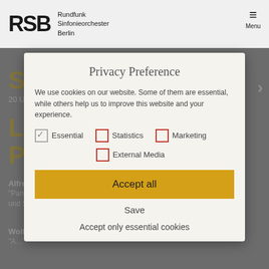[Figure (screenshot): RSB website header with logo showing 'RSB' and 'Rundfunk Sinfonieorchester Berlin', and a hamburger menu icon with 'Menu' label on the right]
[Figure (screenshot): Background website content showing concert program details with yellow heading text and performer names, partially obscured by modal overlay]
Privacy Preference
We use cookies on our website. Some of them are essential, while others help us to improve this website and your experience.
Essential (checked), Statistics (unchecked), Marketing (unchecked), External Media (unchecked)
Accept all
Save
Accept only essential cookies